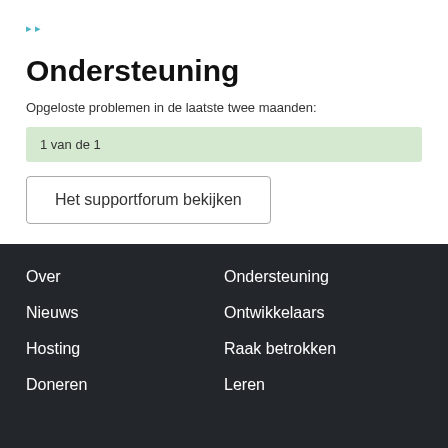Ondersteuning
Opgeloste problemen in de laatste twee maanden:
1 van de 1
Het supportforum bekijken
Over
Ondersteuning
Nieuws
Ontwikkelaars
Hosting
Raak betrokken
Doneren
Leren